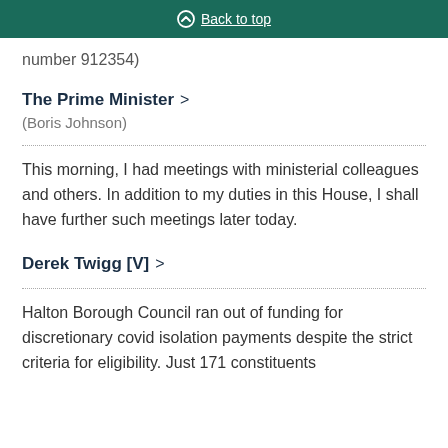Back to top
number 912354)
The Prime Minister >
(Boris Johnson)
This morning, I had meetings with ministerial colleagues and others. In addition to my duties in this House, I shall have further such meetings later today.
Derek Twigg [V] >
Halton Borough Council ran out of funding for discretionary covid isolation payments despite the strict criteria for eligibility. Just 171 constituents